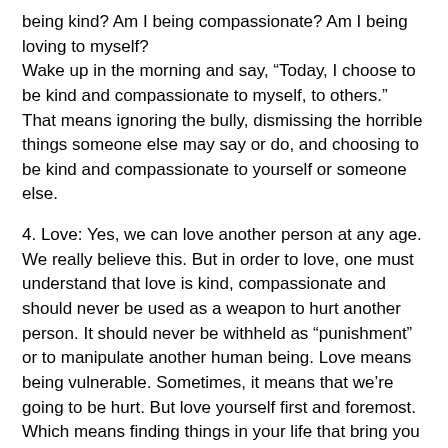being kind? Am I being compassionate? Am I being loving to myself?
Wake up in the morning and say, “Today, I choose to be kind and compassionate to myself, to others.” That means ignoring the bully, dismissing the horrible things someone else may say or do, and choosing to be kind and compassionate to yourself or someone else.
4. Love: Yes, we can love another person at any age. We really believe this. But in order to love, one must understand that love is kind, compassionate and should never be used as a weapon to hurt another person. It should never be withheld as “punishment” or to manipulate another human being. Love means being vulnerable. Sometimes, it means that we’re going to be hurt. But love yourself first and foremost. Which means finding things in your life that bring you joy without another person making that happen.